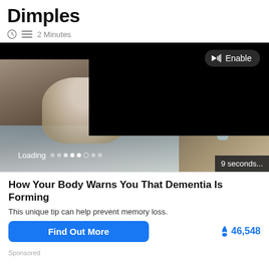Dimples
2 Minutes
[Figure (screenshot): Video player overlay on top of a photo of an elderly person sitting on a bed in pajamas. The video shows a black loading screen with 'Enable' audio button and loading dots. A '9 seconds...' badge appears in the corner.]
How Your Body Warns You That Dementia Is Forming
This unique tip can help prevent memory loss.
Find Out More
46,548
Sponsored